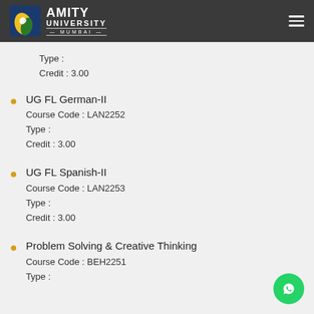AMITY UNIVERSITY MUMBAI
Type :
Credit : 3.00
UG FL German-II
Course Code : LAN2252
Type :
Credit : 3.00
UG FL Spanish-II
Course Code : LAN2253
Type :
Credit : 3.00
Problem Solving & Creative Thinking
Course Code : BEH2251
Type :